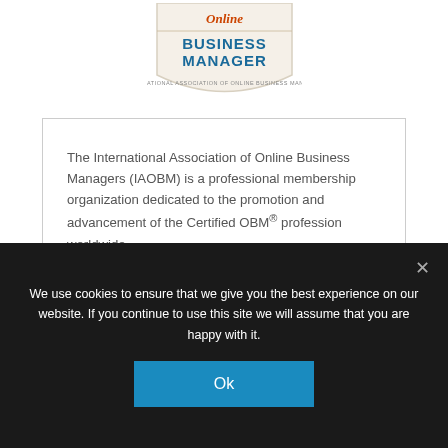[Figure (logo): Online Business Manager badge/shield logo with text 'Online BUSINESS MANAGER' in blue and orange/red colors on a light beige shield shape]
The International Association of Online Business Managers (IAOBM) is a professional membership organization dedicated to the promotion and advancement of the Certified OBM® profession worldwide.
LATEST POSTS
We use cookies to ensure that we give you the best experience on our website. If you continue to use this site we will assume that you are happy with it.